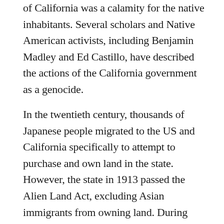of California was a calamity for the native inhabitants. Several scholars and Native American activists, including Benjamin Madley and Ed Castillo, have described the actions of the California government as a genocide.
In the twentieth century, thousands of Japanese people migrated to the US and California specifically to attempt to purchase and own land in the state. However, the state in 1913 passed the Alien Land Act, excluding Asian immigrants from owning land. During World War II, Japanese Americans in California were interned in concentration camps such as at Tule Lake and Manzanar. In 2020, California